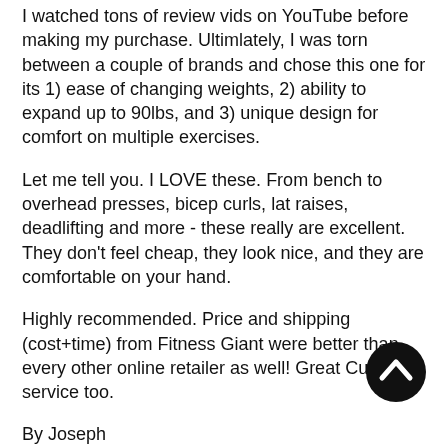I watched tons of review vids on YouTube before making my purchase. Ultimlately, I was torn between a couple of brands and chose this one for its 1) ease of changing weights, 2) ability to expand up to 90lbs, and 3) unique design for comfort on multiple exercises.
Let me tell you. I LOVE these. From bench to overhead presses, bicep curls, lat raises, deadlifting and more - these really are excellent. They don't feel cheap, they look nice, and they are comfortable on your hand.
Highly recommended. Price and shipping (cost+time) from Fitness Giant were better than every other online retailer as well! Great Customer service too.
By Joseph
Houston, TX
Amazing!
March 31, 2021
The powerblocks were exactly what I was looking for. They're super reliable and sturdy while i'm doing any type of lifting and the handles are pretty comfortable for my hands.
[Figure (other): Black circular scroll-to-top button with upward chevron icon]